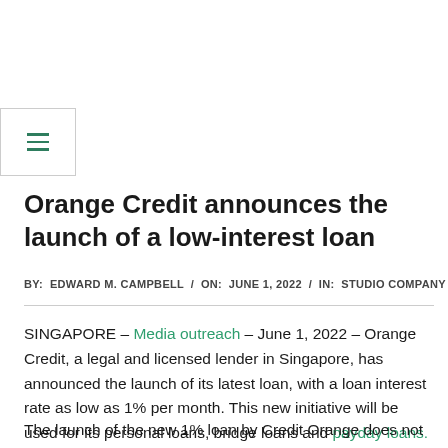[Figure (other): Hamburger menu button with three horizontal green lines inside a bordered box]
Orange Credit announces the launch of a low-interest loan
BY:  EDWARD M. CAMPBELL  /  ON:  JUNE 1, 2022  /  IN:  STUDIO COMPANY
SINGAPORE – Media outreach – June 1, 2022 – Orange Credit, a legal and licensed lender in Singapore, has announced the launch of its latest loan, with a loan interest rate as low as 1% per month. This new initiative will be used for its personal loans, bridge loans and payday loans.
The launch of the new 1% loan by Credit Orange does not include